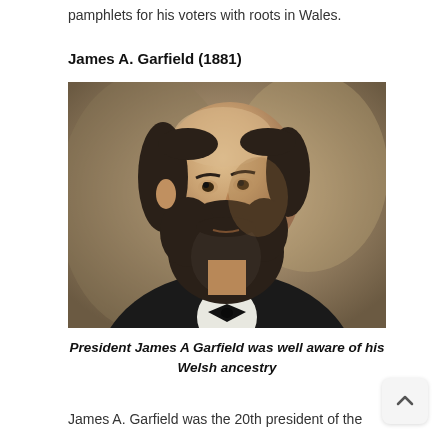pamphlets for his voters with roots in Wales.
James A. Garfield (1881)
[Figure (photo): Oil portrait painting of President James A. Garfield, shown from the chest up in three-quarter profile view, wearing a black suit and bow tie with a white shirt, having a full dark beard and receding hairline, against a muted brown-gray background.]
President James A Garfield was well aware of his Welsh ancestry
James A. Garfield was the 20th president of the